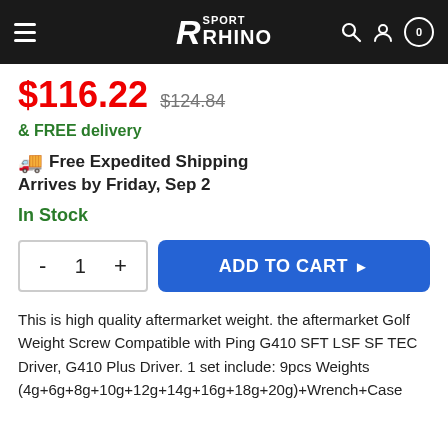Sport Rhino
$116.22 $124.84
& FREE delivery
🚚 Free Expedited Shipping
Arrives by Friday, Sep 2
In Stock
- 1 + ADD TO CART
This is high quality aftermarket weight. the aftermarket Golf Weight Screw Compatible with Ping G410 SFT LSF SF TEC Driver, G410 Plus Driver. 1 set include: 9pcs Weights (4g+6g+8g+10g+12g+14g+16g+18g+20g)+Wrench+Case